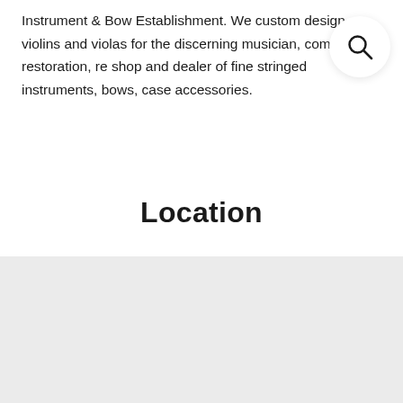Instrument & Bow Establishment. We custom design violins and violas for the discerning musician, complete restoration, re shop and dealer of fine stringed instruments, bows, case accessories.
[Figure (other): Search icon button — circular white button with magnifying glass icon]
Location
[Figure (map): Map area placeholder — light gray background representing an embedded map]